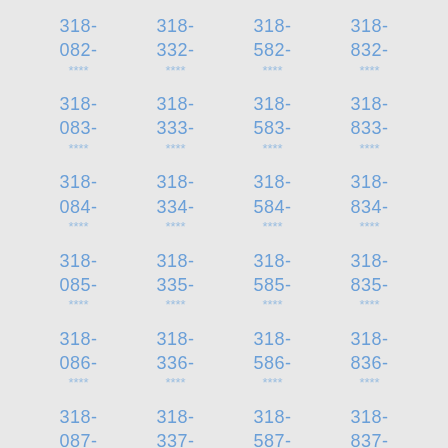318-
082-
****
318-
332-
****
318-
582-
****
318-
832-
****
318-
083-
****
318-
333-
****
318-
583-
****
318-
833-
****
318-
084-
****
318-
334-
****
318-
584-
****
318-
834-
****
318-
085-
****
318-
335-
****
318-
585-
****
318-
835-
****
318-
086-
****
318-
336-
****
318-
586-
****
318-
836-
****
318-
087-
318-
337-
318-
587-
318-
837-